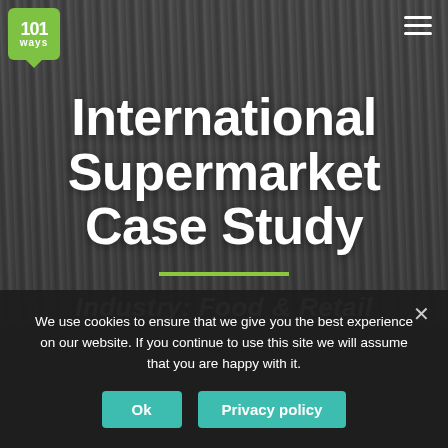[Figure (photo): Aerial/overhead view of a supermarket interior with shelves and products, rendered in dark grayscale tones. A green logo with '101 ways' appears in the top-left corner and a hamburger menu icon appears in the top-right corner.]
International Supermarket Case Study
Industry: Food & Retail
We use cookies to ensure that we give you the best experience on our website. If you continue to use this site we will assume that you are happy with it.
Ok
Privacy policy